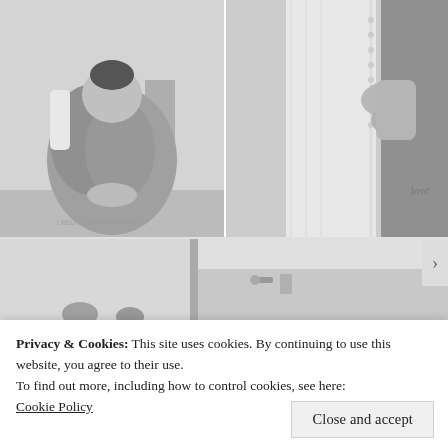[Figure (photo): Black and white wedding photo (left): A woman in a floral robe looking down, being helped getting dressed]
[Figure (photo): Black and white wedding photo (right): Close-up of hands lacing up a wedding dress corset back, woman with tattoo visible]
[Figure (photo): Black and white wedding photo (bottom): Partial view of people in a room, mirror or doorframe visible]
Privacy & Cookies: This site uses cookies. By continuing to use this website, you agree to their use.
To find out more, including how to control cookies, see here:
Cookie Policy
Close and accept